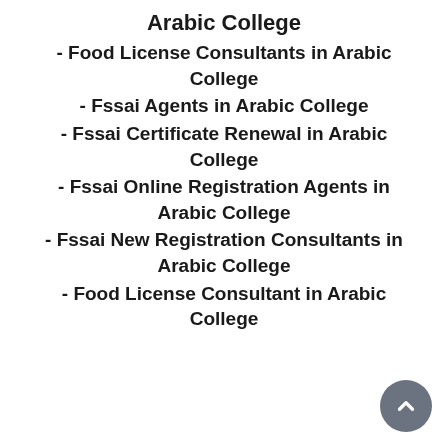Arabic College
- Food License Consultants in Arabic College
- Fssai Agents in Arabic College
- Fssai Certificate Renewal in Arabic College
- Fssai Online Registration Agents in Arabic College
- Fssai New Registration Consultants in Arabic College
- Food License Consultant in Arabic College